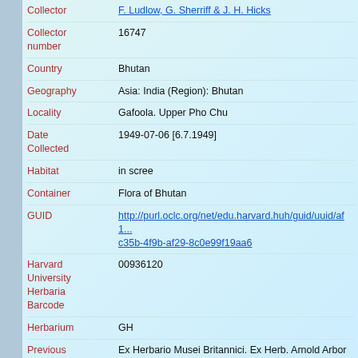| Field | Value |
| --- | --- |
| Collector | F. Ludlow, G. Sherriff & J. H. Hicks |
| Collector number | 16747 |
| Country | Bhutan |
| Geography | Asia: India (Region): Bhutan |
| Locality | Gafoola. Upper Pho Chu |
| Date Collected | 1949-07-06 [6.7.1949] |
| Habitat | in scree |
| Container | Flora of Bhutan |
| GUID | http://purl.oclc.org/net/edu.harvard.huh/guid/uuid/af1...c35b-4f9b-af29-8c0e99f19aa6 |
| Harvard University Herbaria Barcode | 00936120 |
| Herbarium | GH |
| Previous ownership | Ex Herbario Musei Britannici. Ex Herb. Arnold Arboretum Harvard University |
| Family | Boraginaceae |
| Determination | Lasiocaryum densiflorum (Duthie) I. M. Johnston |
| Determination Remark | [is label name] |